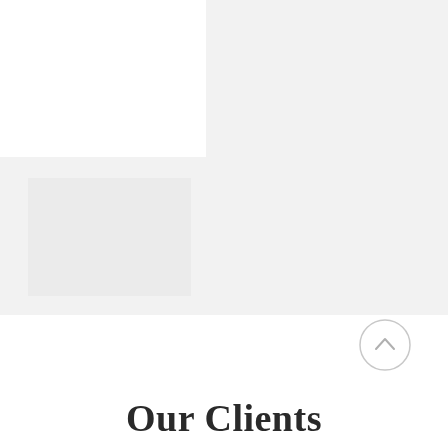[Figure (illustration): Decorative geometric background shape composed of two gray rectangular blocks forming an L-shape or staircase pattern. Top-right block and a wide bottom band in light gray (#f2f2f2), with a slightly darker inner rectangle on the lower-left area.]
[Figure (illustration): Circular scroll-to-top button with a light gray outline and an upward-pointing chevron/arrow icon, positioned in the lower-right area.]
Our Clients